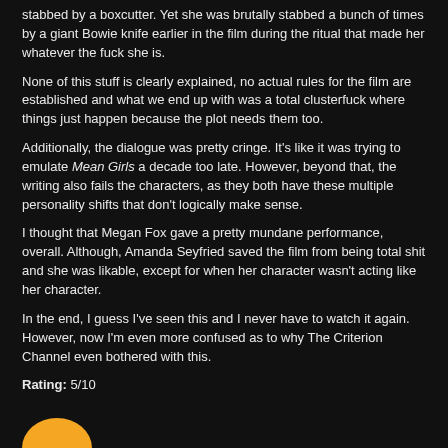stabbed by a boxcutter. Yet she was brutally stabbed a bunch of times by a giant Bowie knife earlier in the film during the ritual that made her whatever the fuck she is.
None of this stuff is clearly explained, no actual rules for the film are established and what we end up with was a total clusterfuck where things just happen because the plot needs them too.
Additionally, the dialogue was pretty cringe. It's like it was trying to emulate Mean Girls a decade too late. However, beyond that, the writing also fails the characters, as they both have these multiple personality shifts that don't logically make sense.
I thought that Megan Fox gave a pretty mundane performance, overall. Although, Amanda Seyfried saved the film from being total shit and she was likable, except for when her character wasn't acting like her character.
In the end, I guess I've seen this and I never have to watch it again. However, now I'm even more confused as to why The Criterion Channel even bothered with this.
Rating: 5/10
[Figure (logo): Circular orange/yellow logo partially visible at bottom left]